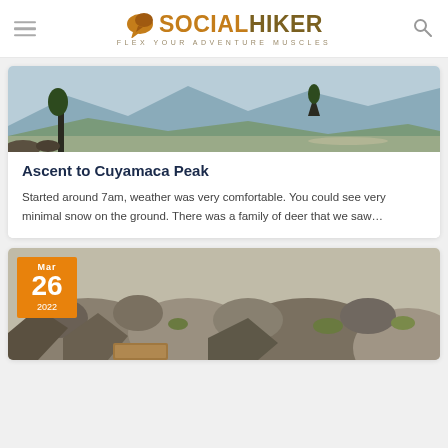SOCIAL HIKER — FLEX YOUR ADVENTURE MUSCLES
[Figure (photo): Mountain landscape view from a peak, showing sparse trees, rocky terrain, and a wide valley below under a clear sky]
Ascent to Cuyamaca Peak
Started around 7am, weather was very comfortable. You could see very minimal snow on the ground. There was a family of deer that we saw…
[Figure (photo): Rocky summit trail area with large boulders, desert scrub, and a wooden trail marker sign partially visible, dated Mar 26 2022]